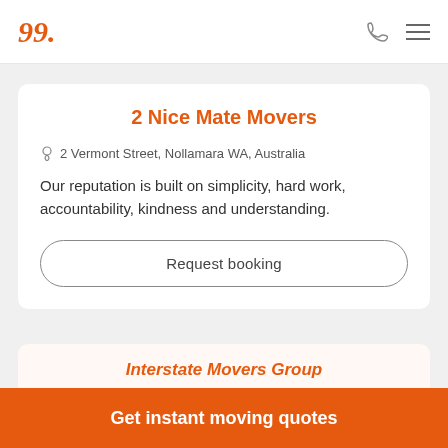2 Nice Mate Movers — navigation header with logo and icons
2 Nice Mate Movers
2 Vermont Street, Nollamara WA, Australia
Our reputation is built on simplicity, hard work, accountability, kindness and understanding.
Request booking
Interstate Movers Group
Get instant moving quotes